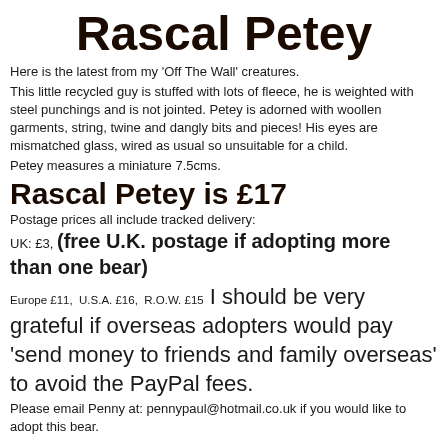Rascal Petey
Here is the latest from my 'Off The Wall' creatures.
This little recycled guy is stuffed with lots of fleece, he is weighted with steel punchings and is not jointed. Petey is adorned with woollen garments, string, twine and dangly bits and pieces! His eyes are mismatched glass, wired as usual so unsuitable for a child.
Petey measures a miniature 7.5cms.
Rascal Petey is £17
Postage prices all include tracked delivery:
UK: £3, (free U.K. postage if adopting more than one bear)
Europe £11,  U.S.A. £16,  R.O.W. £15  I should be very grateful if overseas adopters would pay 'send money to friends and family overseas' to avoid the PayPal fees.
Please email Penny at: pennypaul@hotmail.co.uk if you would like to adopt this bear.